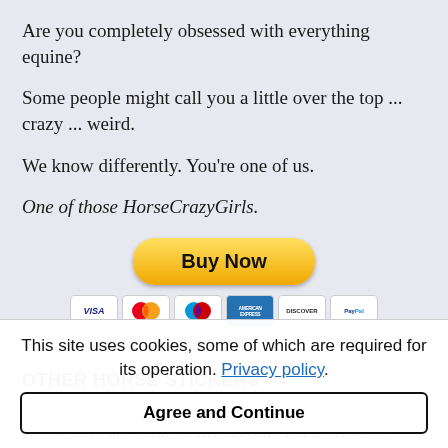Are you completely obsessed with everything equine?
Some people might call you a little over the top ... crazy ... weird.
We know differently. You're one of us.
One of those HorseCrazyGirls.
[Figure (other): PayPal Buy Now button with payment card icons (Visa, Mastercard, Maestro, American Express, Discover, PayPal)]
OTHER HORSE STICKERS
Unfortunately, I can't make every horse sticker I want to. So, here are some of my favorite horse stickers, horse bumper stickers, and horse decals from Etsy.
This site uses cookies, some of which are required for its operation. Privacy policy.
Agree and Continue